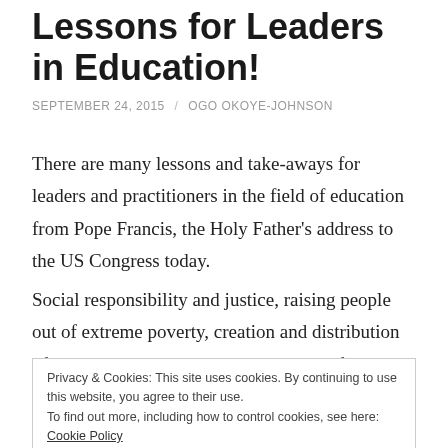Lessons for Leaders in Education!
SEPTEMBER 24, 2015 / OGO OKOYE-JOHNSON
There are many lessons and take-aways for leaders and practitioners in the field of education from Pope Francis, the Holy Father's address to the US Congress today.
Social responsibility and justice, raising people out of extreme poverty, creation and distribution of wealth evenly, creating opportunities for everyone to succeed, and the essence of the Golden Rule where you treat
Privacy & Cookies: This site uses cookies. By continuing to use this website, you agree to their use.
To find out more, including how to control cookies, see here: Cookie Policy
How are we as educators in this environment of testing